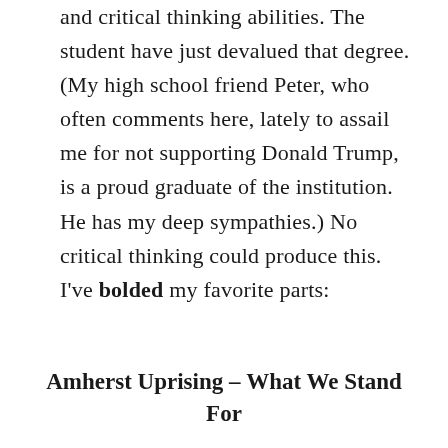and critical thinking abilities. The student have just devalued that degree. (My high school friend Peter, who often comments here, lately to assail me for not supporting Donald Trump, is a proud graduate of the institution. He has my deep sympathies.) No critical thinking could produce this. I've bolded my favorite parts:
Amherst Uprising – What We Stand For